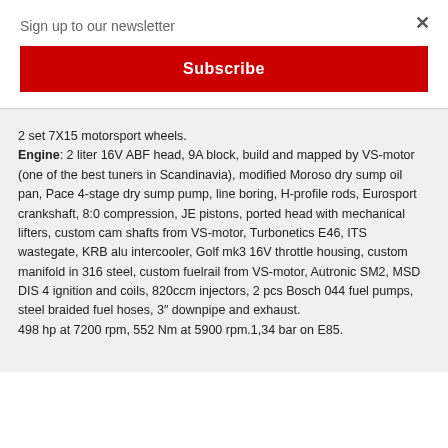Sign up to our newsletter
×
Subscribe
2 set 7X15 motorsport wheels.
Engine: 2 liter 16V ABF head, 9A block, build and mapped by VS-motor (one of the best tuners in Scandinavia), modified Moroso dry sump oil pan, Pace 4-stage dry sump pump, line boring, H-profile rods, Eurosport crankshaft, 8:0 compression, JE pistons, ported head with mechanical lifters, custom cam shafts from VS-motor, Turbonetics E46, ITS wastegate, KRB alu intercooler, Golf mk3 16V throttle housing, custom manifold in 316 steel, custom fuelrail from VS-motor, Autronic SM2, MSD DIS 4 ignition and coils, 820ccm injectors, 2 pcs Bosch 044 fuel pumps, steel braided fuel hoses, 3″ downpipe and exhaust.
498 hp at 7200 rpm, 552 Nm at 5900 rpm.1,34 bar on E85.